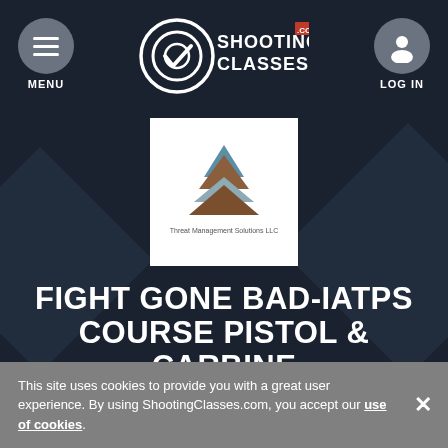[Figure (logo): ShootingClasses.com logo with target/checkmark icon]
[Figure (logo): Threat Management Solutions LLC pyramid logo on white background]
FIGHT GONE BAD-IATPS COURSE PISTOL & CARBINE
ADVANCED
Duration: 2 Day Course
This site uses cookies to provide you with a great user experience. By using ShootingClasses.com, you accept our use of cookies.